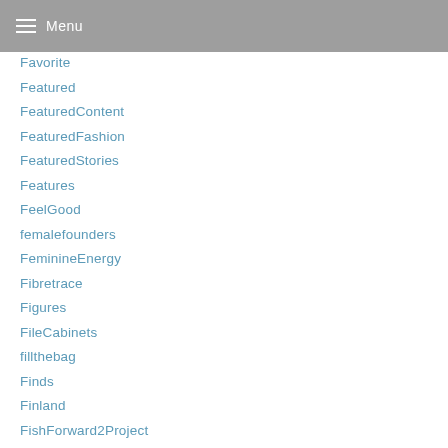Menu
Favorite
Featured
FeaturedContent
FeaturedFashion
FeaturedStories
Features
FeelGood
femalefounders
FeminineEnergy
Fibretrace
Figures
FileCabinets
fillthebag
Finds
Finland
FishForward2Project
Fishing